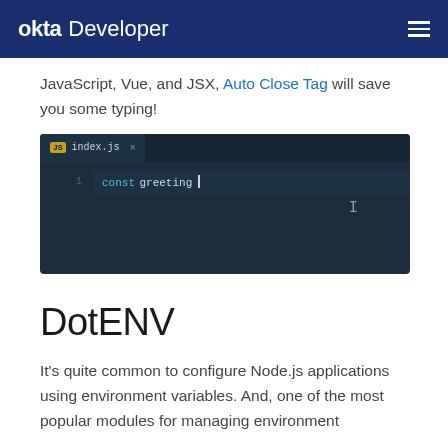okta Developer
JavaScript, Vue, and JSX, Auto Close Tag will save you some typing!
[Figure (screenshot): Code editor screenshot showing a VS Code-like editor with a tab labeled 'index.js' and code: const greeting | (with cursor)]
DotENV
It’s quite common to configure Node.js applications using environment variables. And, one of the most popular modules for managing environment variables is dotenv. The DotENV extension for VS...